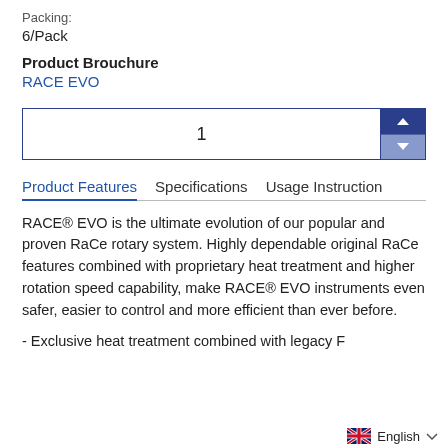Packing:
6/Pack
Product Brouchure
RACE EVO
1
Product Features   Specifications   Usage Instruction
RACE® EVO is the ultimate evolution of our popular and proven RaCe rotary system. Highly dependable original RaCe features combined with proprietary heat treatment and higher rotation speed capability, make RACE® EVO instruments even safer, easier to control and more efficient than ever before.
- Exclusive heat treatment combined with legacy F...
English